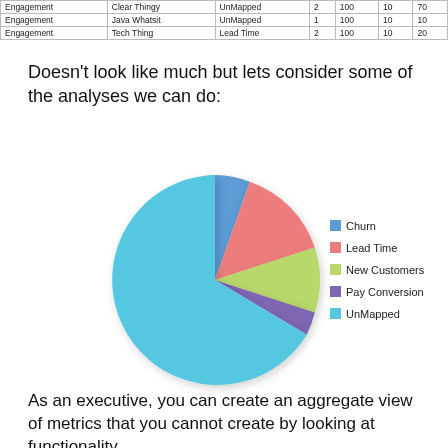|  |  |  |  |  |  |  |  |
| --- | --- | --- | --- | --- | --- | --- | --- |
| Engagement | Clear Thingy | UnMapped | 2 | 100 | 10 | 70 |
| Engagement | Java Whatsit | UnMapped | 1 | 100 | 10 | 10 |
| Engagement | Tech Thing | Lead Time | 2 | 100 | 10 | 20 |
Doesn't look like much but lets consider some of the analyses we can do:
[Figure (pie-chart): ]
As an executive, you can create an aggregate view of metrics that you cannot create by looking at functionality.